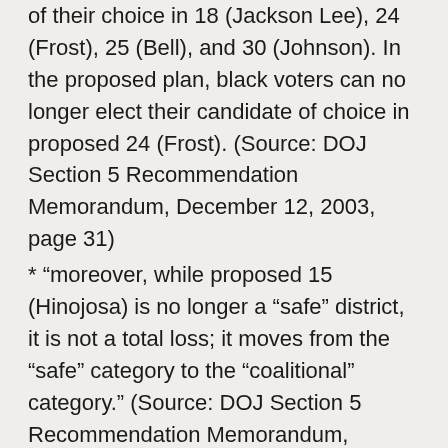of their choice in 18 (Jackson Lee), 24 (Frost), 25 (Bell), and 30 (Johnson). In the proposed plan, black voters can no longer elect their candidate of choice in proposed 24 (Frost). (Source: DOJ Section 5 Recommendation Memorandum, December 12, 2003, page 31)
* “moreover, while proposed 15 (Hinojosa) is no longer a “safe” district, it is not a total loss; it moves from the “safe” category to the “coalitional” category.” (Source: DOJ Section 5 Recommendation Memorandum, December 12, 2003, page 31)
* In sum, the proposed plan reduces the level of minority voting strength because it eliminates the ability that minority voters have in Benchmark 15 (Hinojosa), 23 (Bonilla) and 24 (Frost) to elect candidates of choice. In each of these districts, the state failed to follow its traditional redistricting principles preserving communities of interest and